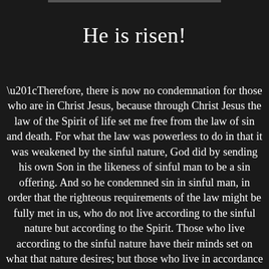He is risen!
“Therefore, there is now no condemnation for those who are in Christ Jesus, because through Christ Jesus the law of the Spirit of life set me free from the law of sin and death. For what the law was powerless to do in that it was weakened by the sinful nature, God did by sending his own Son in the likeness of sinful man to be a sin offering. And so he condemned sin in sinful man, in order that the righteous requirements of the law might be fully met in us, who do not live according to the sinful nature but according to the Spirit. Those who live according to the sinful nature have their minds set on what that nature desires; but those who live in accordance with the Spirit have their minds set on what the Spirit desires. The mind of sinful man is death, but the mind controlled by the Spirit is life and peace; the sinful mind is hostile to God. It does not submit to God’s law, nor can it do so. Those controlled by the sinful nature cannot please God. You, however, are controlled not by the sinful nature but by the Spirit if the Spirit of God lives in you. And if one...